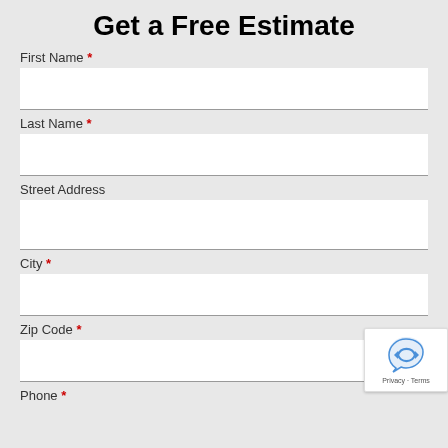Get a Free Estimate
First Name *
Last Name *
Street Address
City *
Zip Code *
Phone *